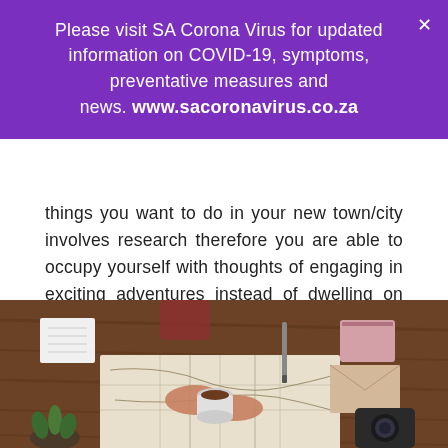Please visit SA Corona Virus for updated information on COVID-19, symptoms, preventative measures and news. www.sacoronavirus.co.za
things you want to do in your new town/city involves research therefore you are able to occupy yourself with thoughts of engaging in exciting adventures instead of dwelling on thoughts of home. Plan your lists month by month so you can pace yourself. Add 2-3 places to see, 1-2 things to do and maybe 3-4 places you want to eat at for a month. Change things up every month for variety!
[Figure (photo): Overhead view of a person's hands holding a coffee cup over a map on a wooden table, with a notebook, pen, passport, envelope, and camera nearby]